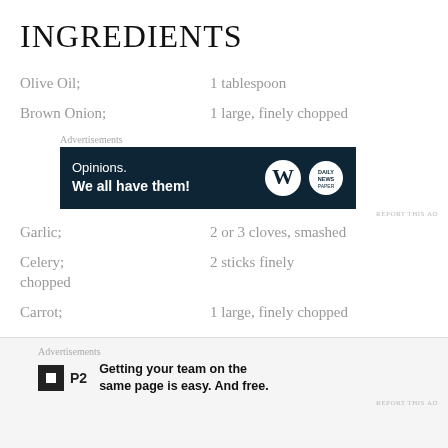INGREDIENTS
Olive Oil;   1 tablespoon
Brown Onion;   1 large, finely chopped
[Figure (infographic): Advertisement banner: 'Opinions. We all have them!' with WordPress and another logo on dark navy background]
Garlic;   2 or 3 cloves, smashed
Celery;   2 sticks finely chopped
Carrot;   1 large, finely chopped
[Figure (infographic): Advertisement: P2 logo with text 'Getting your team on the same page is easy. And free.']